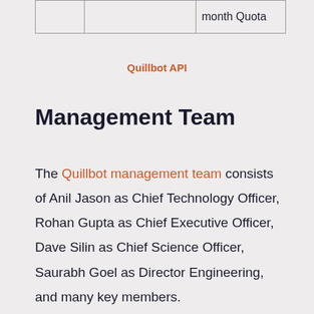|  |  | month Quota |
Quillbot API
Management Team
The Quillbot management team consists of Anil Jason as Chief Technology Officer, Rohan Gupta as Chief Executive Officer, Dave Silin as Chief Science Officer, Saurabh Goel as Director Engineering, and many key members.